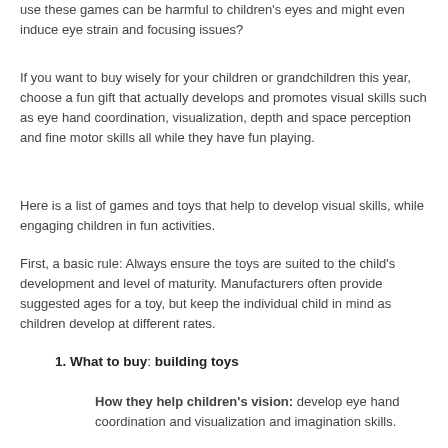use these games can be harmful to children's eyes and might even induce eye strain and focusing issues?
If you want to buy wisely for your children or grandchildren this year,  choose a fun gift that actually develops and promotes visual skills such as eye hand coordination, visualization, depth and space perception and fine motor skills all while they have fun playing.
Here is a list of games and toys that help to develop visual skills, while engaging children in fun activities.
First, a basic rule:  Always ensure the toys are suited to the child's development and level of maturity. Manufacturers often provide suggested ages for a toy, but keep the individual child in mind as children develop at different rates.
1.  What to buy: building toys
How they help children's vision: develop eye hand coordination and visualization and imagination skills.